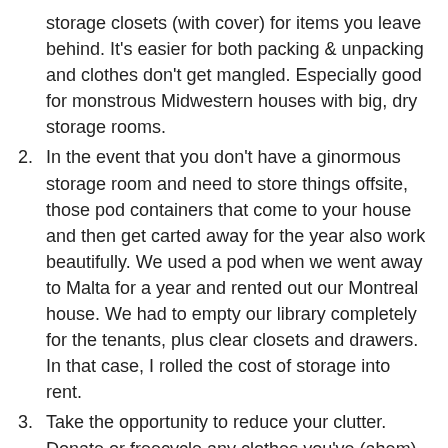storage closets (with cover) for items you leave behind. It's easier for both packing & unpacking and clothes don't get mangled. Especially good for monstrous Midwestern houses with big, dry storage rooms.
2. In the event that you don't have a ginormous storage room and need to store things offsite, those pod containers that come to your house and then get carted away for the year also work beautifully. We used a pod when we went away to Malta for a year and rented out our Montreal house. We had to empty our library completely for the tenants, plus clear closets and drawers. In that case, I rolled the cost of storage into rent.
3. Take the opportunity to reduce your clutter. Donate or freecycle any clothes you've (ahem) outgrown or just don't wear. Cut up old t-shirts for rags. Take part in your neighborhood's garage sale and share the proceeds with your kid when he sells old toys. Donate the leftover toys.